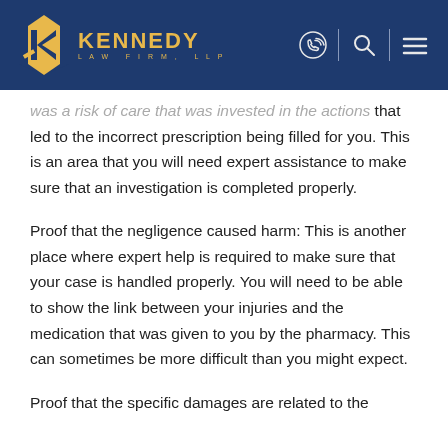KENNEDY LAW FIRM, LLP
was a risk of care that was invested in the actions that led to the incorrect prescription being filled for you. This is an area that you will need expert assistance to make sure that an investigation is completed properly.
Proof that the negligence caused harm: This is another place where expert help is required to make sure that your case is handled properly. You will need to be able to show the link between your injuries and the medication that was given to you by the pharmacy. This can sometimes be more difficult than you might expect.
Proof that the specific damages are related to the